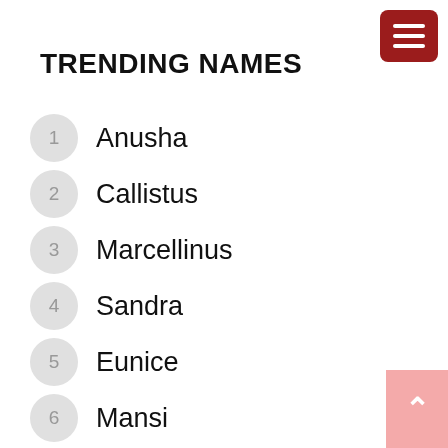TRENDING NAMES
1 Anusha
2 Callistus
3 Marcellinus
4 Sandra
5 Eunice
6 Mansi
7 Suraj
8 Saloni
9 Raymond
10 Simran
11 Bonita